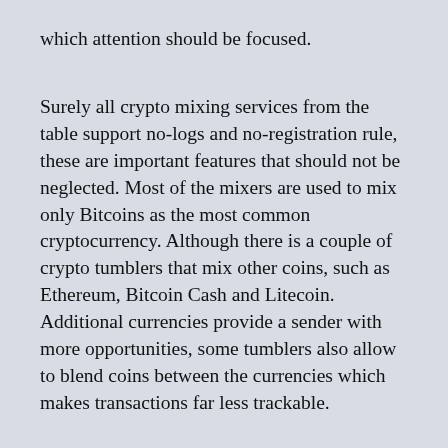which attention should be focused.
Surely all crypto mixing services from the table support no-logs and no-registration rule, these are important features that should not be neglected. Most of the mixers are used to mix only Bitcoins as the most common cryptocurrency. Although there is a couple of crypto tumblers that mix other coins, such as Ethereum, Bitcoin Cash and Litecoin. Additional currencies provide a sender with more opportunities, some tumblers also allow to blend coins between the currencies which makes transactions far less trackable.
There is one feature that is not displayed in the above table and it is time-delay. This feature helps a user and a transaction itself to remain anonymous, as there is a gap between the sent coins and the outcoming transaction. In most cases, users can set the time of delay by themselves and it can be several days or even hours and minutes. To get a better understanding of crypto tumblers, it is necessary to consider each of them independently.
Blender has a easy interface, it is intuitive to use and uncomplicated. Time-delay option can be set up to 24 hours. With regard to the fee, there is an extra fee of